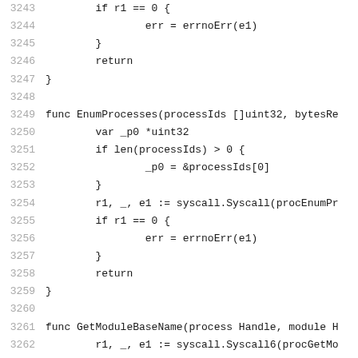Source code listing lines 3243-3264 showing Go functions including EnumProcesses and GetModuleBaseName